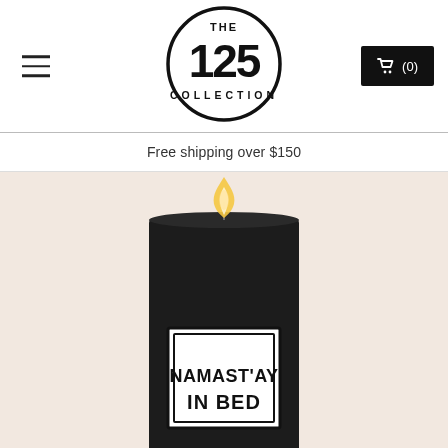[Figure (logo): The 125 Collection circular logo with bold '125' and 'COLLECTION' text inside a circle]
☰
🛒 (0)
Free shipping over $150
[Figure (photo): A lit black candle with a white label reading 'NAMAST'AY IN BED' on a light peach/beige background]